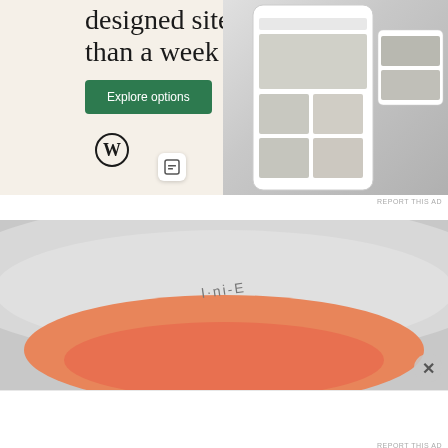[Figure (illustration): WordPress ad banner with beige background showing text 'designed sites in less than a week', green Explore options button, WordPress logo, small icon, and mobile UI mockup screenshots]
REPORT THIS AD
[Figure (photo): Close-up photo of a white bowl or container with orange/salmon colored liquid inside, with text 'I-ni-E' visible on the inside of the bowl]
Advertisements
[Figure (illustration): P2 advertisement: P2 logo with grid icon and 'Getting your team on the same page is easy. And free.']
REPORT THIS AD